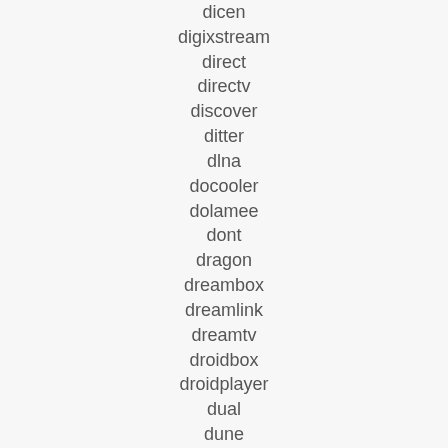dicen
digixstream
direct
directv
discover
ditter
dlna
docooler
dolamee
dont
dragon
dreambox
dreamlink
dreamtv
droidbox
droidplayer
dual
dune
dvb-t2s2c
dynalink
eachlink